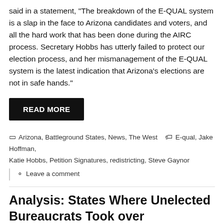said in a statement, "The breakdown of the E-QUAL system is a slap in the face to Arizona candidates and voters, and all the hard work that has been done during the AIRC process. Secretary Hobbs has utterly failed to protect our election process, and her mismanagement of the E-QUAL system is the latest indication that Arizona's elections are not in safe hands."
READ MORE
Arizona, Battleground States, News, The West  E-qual, Jake Hoffman, Katie Hobbs, Petition Signatures, redistricting, Steve Gaynor
Leave a comment
Analysis: States Where Unelected Bureaucrats Took over Redistricting Experienced Difficulties
December 29, 2021   Arizona Sun Times Staff
In Michigan, the state's civil rights agency